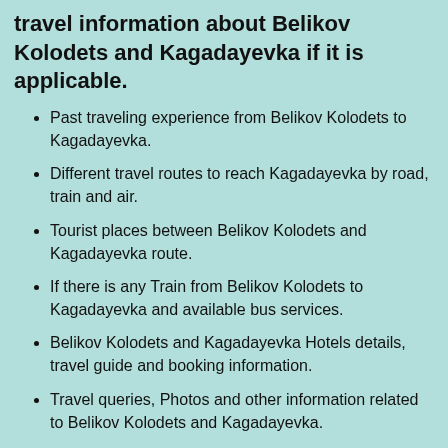travel information about Belikov Kolodets and Kagadayevka if it is applicable.
Past traveling experience from Belikov Kolodets to Kagadayevka.
Different travel routes to reach Kagadayevka by road, train and air.
Tourist places between Belikov Kolodets and Kagadayevka route.
If there is any Train from Belikov Kolodets to Kagadayevka and available bus services.
Belikov Kolodets and Kagadayevka Hotels details, travel guide and booking information.
Travel queries, Photos and other information related to Belikov Kolodets and Kagadayevka.